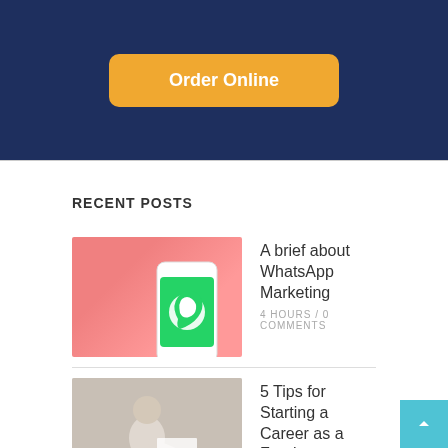[Figure (other): Dark navy blue banner with orange 'Order Online' button]
RECENT POSTS
[Figure (photo): Thumbnail of a phone with WhatsApp logo on pink background]
A brief about WhatsApp Marketing
4 HOURS /  0 COMMENTS
[Figure (photo): Thumbnail of a person writing at a desk]
5 Tips for Starting a Career as a Freelance Writer
2 DAYS /  0 COMMENTS
[Figure (photo): Thumbnail of workplace injury scene]
Common Types of Workplace Personal Injury Cases